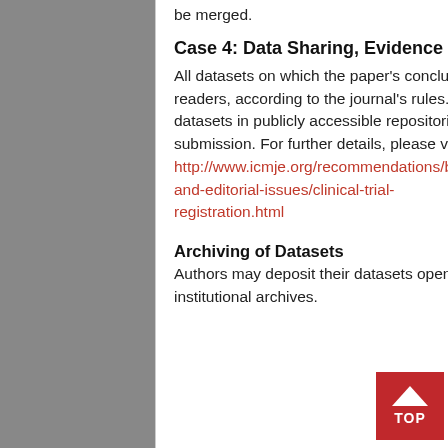be merged.
Case 4: Data Sharing, Evidence of Data Sharing and Data for Peer-Review
All datasets on which the paper's conclusions are based must be made accessible to reviewers and readers, according to the journal's rules. Prior to peer review, authors must either deposit their datasets in publicly accessible repositories or provide them as supplementary materials with their submission. For further details, please visit complete guidelines at: http://www.icmje.org/recommendations/browse-and-editorial-issues/clinical-trial-registration.html
Archiving of Datasets
Authors may deposit their datasets openly to Zenodo Repository, in addition to their own or their institutional archives.